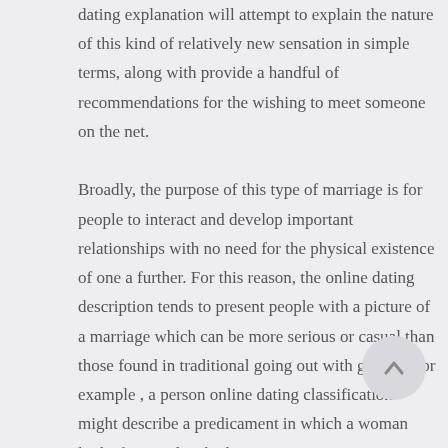dating explanation will attempt to explain the nature of this kind of relatively new sensation in simple terms, along with provide a handful of recommendations for the wishing to meet someone on the net.

Broadly, the purpose of this type of marriage is for people to interact and develop important relationships with no need for the physical existence of one a further. For this reason, the online dating description tends to present people with a picture of a marriage which can be more serious or casual than those found in traditional going out with groups. For example , a person online dating classification might describe a predicament in which a woman looks for a male who has